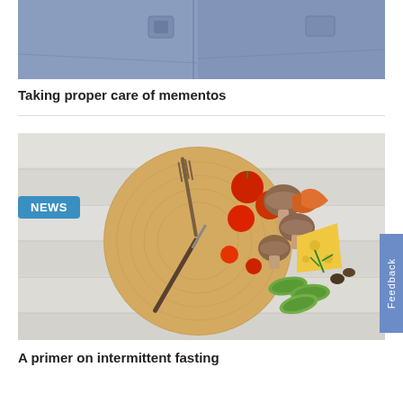[Figure (photo): Cropped photo showing two people in blue/gray jackets or uniforms, visible from chest down]
Taking proper care of mementos
[Figure (photo): Overhead photo of a round wooden cutting board styled as a clock face with vegetables (tomatoes, mushrooms, zucchini), cheese, herbs, and cutlery arranged on it, on a white wooden surface. A blue NEWS badge is overlaid in the top-left corner.]
A primer on intermittent fasting